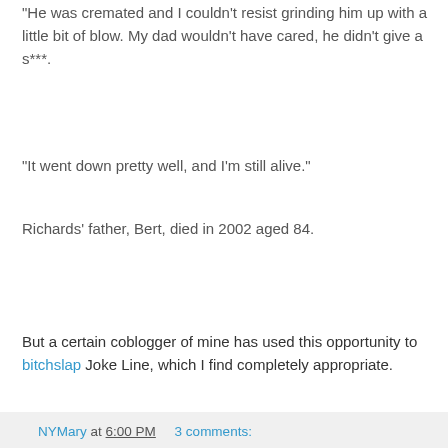"He was cremated and I couldn't resist grinding him up with a little bit of blow. My dad wouldn't have cared, he didn't give a s***.
"It went down pretty well, and I'm still alive."
Richards' father, Bert, died in 2002 aged 84.
But a certain coblogger of mine has used this opportunity to bitchslap Joke Line, which I find completely appropriate.
NYMary at 6:00 PM   3 comments:
Share
Timeless Melody
17 years later, you still can't buy a better album than the eponymous debut of The La's. Every song a perfect little